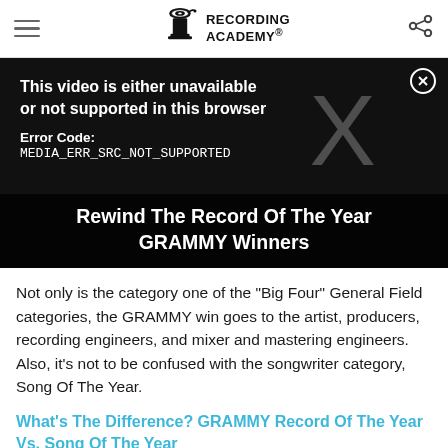Recording Academy
[Figure (screenshot): Video player error screen showing 'This video is either unavailable or not supported in this browser. Error Code: MEDIA_ERR_SRC_NOT_SUPPORTED' with a large X overlay on dark background, and title 'Rewind The Record Of The Year GRAMMY Winners' at the bottom.]
Not only is the category one of the "Big Four" General Field categories, the GRAMMY win goes to the artist, producers, recording engineers, and mixer and mastering engineers. Also, it's not to be confused with the songwriter category, Song Of The Year.
What's The Difference? GRAMMY Record Of The Year Vs. Song Of The Year